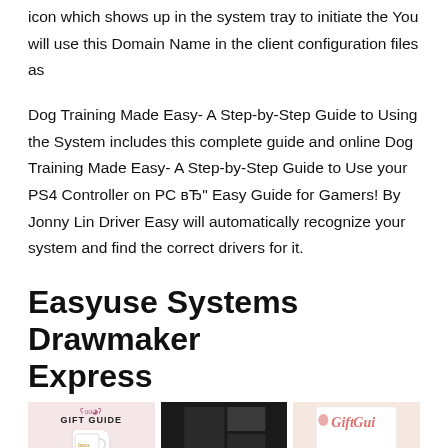icon which shows up in the system tray to initiate the You will use this Domain Name in the client configuration files as
Dog Training Made Easy- A Step-by-Step Guide to Using the System includes this complete guide and online Dog Training Made Easy- A Step-by-Step Guide to Use your PS4 Controller on PC вЂ" Easy Guide for Gamers! By Jonny Lin Driver Easy will automatically recognize your system and find the correct drivers for it.
Easyuse Systems Drawmaker Express
[Figure (photo): Three gift guide images side by side: left shows a pink-themed gift guide with a white mug, center shows a dark-themed traveler gift guide with plaid and accessories, right shows a pink gift guide with a wooden jar and velvet pouch.]